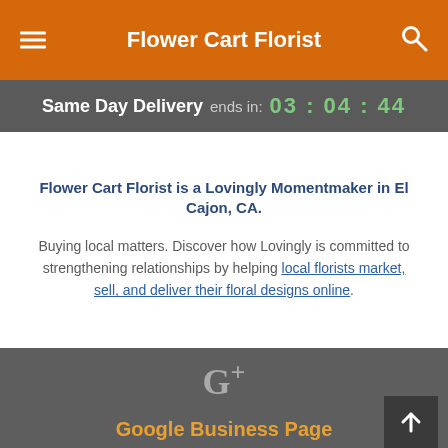Flower Cart Florist
Same Day Delivery ends in: 03 : 04 : 44
Flower Cart Florist is a Lovingly Momentmaker in El Cajon, CA. Buying local matters. Discover how Lovingly is committed to strengthening relationships by helping local florists market, sell, and deliver their floral designs online.
[Figure (logo): Google+ logo icon in grey]
Google Business Page
Flower Cart Florist
2816 Fletcher Pkwy El Cajon CA 92020
+1 (619) 461-1661